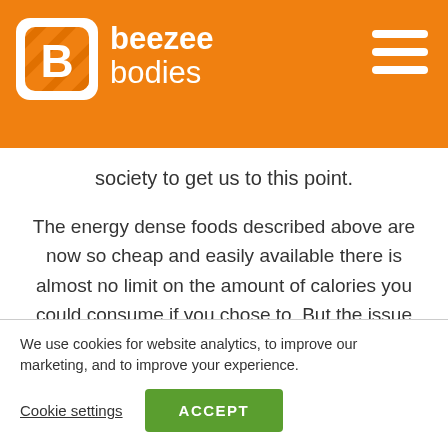beezee bodies
society to get us to this point.
The energy dense foods described above are now so cheap and easily available there is almost no limit on the amount of calories you could consume if you chose to. But the issue with them being so easily available is only a problem if you choose to buy and eat them, right? Just because they are in the stores
We use cookies for website analytics, to improve our marketing, and to improve your experience.
Cookie settings   ACCEPT